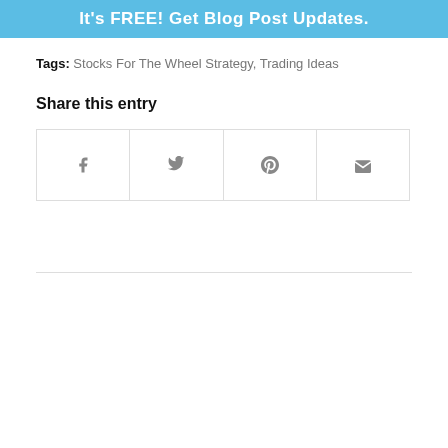[Figure (other): Blue banner with text 'It's FREE! Get Blog Post Updates.']
Tags: Stocks For The Wheel Strategy, Trading Ideas
Share this entry
[Figure (other): Social share buttons grid with icons for Facebook, Twitter, Pinterest, and Email]